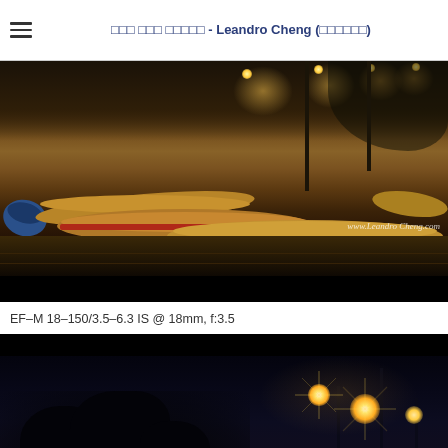□□□ □□□ □□□□□ - Leandro Cheng (□□□□□□)
[Figure (photo): Night photograph of wooden canoes/boats resting on a dock by a waterfront, illuminated by warm street lights. Watermark reads 'www.LeandroCheng.com']
EF-M 18-150/3.5-6.3 IS @ 18mm, f:3.5
[Figure (photo): Night photograph of a dark scene with bright warm street lights creating star-burst effects, with tree silhouettes in the foreground.]